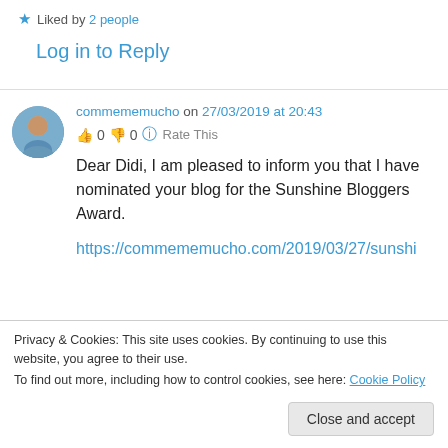★ Liked by 2 people
Log in to Reply
commememucho on 27/03/2019 at 20:43
👍 0 👎 0 ℹ Rate This
Dear Didi, I am pleased to inform you that I have nominated your blog for the Sunshine Bloggers Award.
https://commememucho.com/2019/03/27/sunshi
Privacy & Cookies: This site uses cookies. By continuing to use this website, you agree to their use.
To find out more, including how to control cookies, see here: Cookie Policy
Close and accept